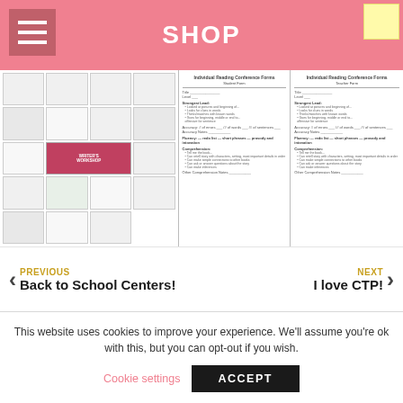SHOP
[Figure (screenshot): Screenshot of an educational resources shop website showing worksheet preview images including a reading/writing workshop bundle with multiple worksheet templates and conference forms]
PREVIOUS
Back to School Centers!
NEXT
I love CTP!
This website uses cookies to improve your experience. We'll assume you're ok with this, but you can opt-out if you wish.
Cookie settings
ACCEPT